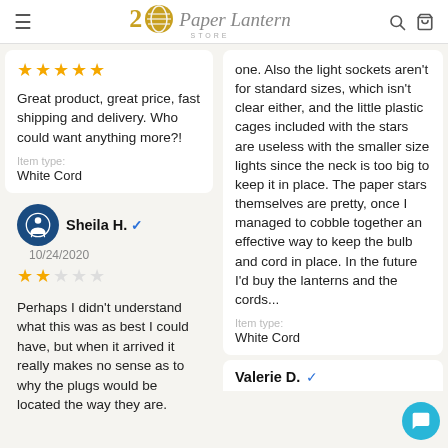Paper Lantern Store
Great product, great price, fast shipping and delivery. Who could want anything more?!
Item type: White Cord
Sheila H. 10/24/2020
Perhaps I didn't understand what this was as best I could have, but when it arrived it really makes no sense as to why the plugs would be located the way they are.
one. Also the light sockets aren't for standard sizes, which isn't clear either, and the little plastic cages included with the stars are useless with the smaller size lights since the neck is too big to keep it in place. The paper stars themselves are pretty, once I managed to cobble together an effective way to keep the bulb and cord in place. In the future I'd buy the lanterns and the cords...
Item type: White Cord
Valerie D.